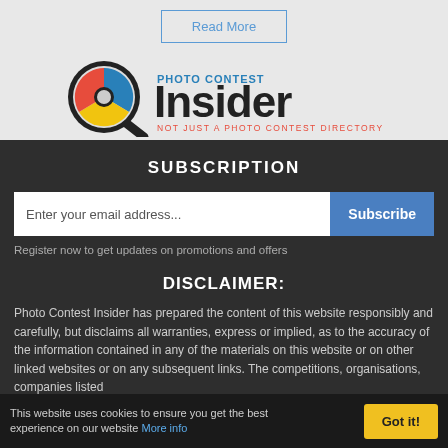Read More
[Figure (logo): Photo Contest Insider logo with magnifying glass icon containing red, yellow, and blue lens segments, and tagline 'NOT JUST A PHOTO CONTEST DIRECTORY']
SUBSCRIPTION
Enter your email address...
Subscribe
Register now to get updates on promotions and offers
DISCLAIMER:
Photo Contest Insider has prepared the content of this website responsibly and carefully, but disclaims all warranties, express or implied, as to the accuracy of the information contained in any of the materials on this website or on other linked websites or on any subsequent links. The competitions, organisations, companies listed
This website uses cookies to ensure you get the best experience on our website More info
Got it!